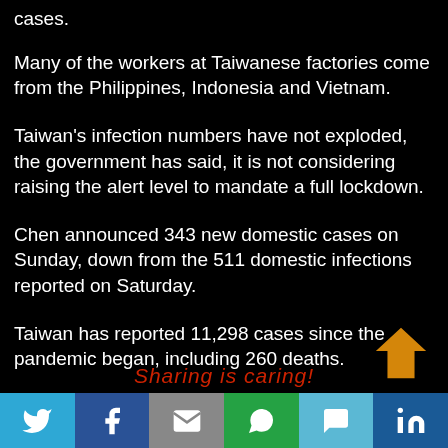cases.
Many of the workers at Taiwanese factories come from the Philippines, Indonesia and Vietnam.
Taiwan's infection numbers have not exploded, the government has said, it is not considering raising the alert level to mandate a full lockdown.
Chen announced 343 new domestic cases on Sunday, down from the 511 domestic infections reported on Saturday.
Taiwan has reported 11,298 cases since the pandemic began, including 260 deaths.
Sharing is caring!
Twitter | Facebook | Email | WhatsApp | SMS | LinkedIn